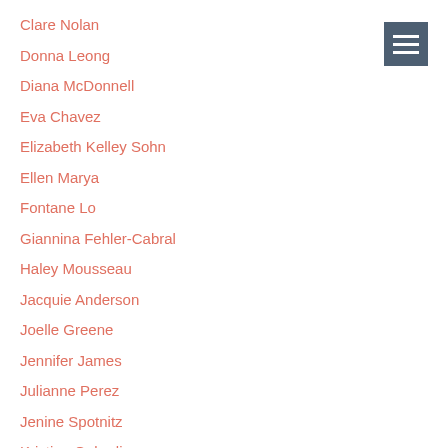Clare Nolan
Donna Leong
Diana McDonnell
Eva Chavez
Elizabeth Kelley Sohn
Ellen Marya
Fontane Lo
Giannina Fehler-Cabral
Haley Mousseau
Jacquie Anderson
Joelle Greene
Jennifer James
Julianne Perez
Jenine Spotnitz
Kristina Gelardi
[Figure (other): Hamburger menu icon — three horizontal white lines on a dark blue-gray square background]